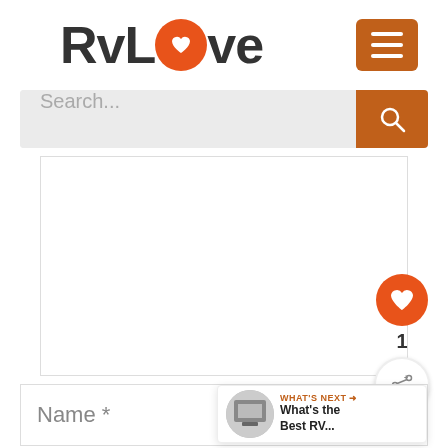[Figure (logo): RVLove logo with orange circle containing a heart for the letter O, and an orange hamburger menu button on the right]
[Figure (screenshot): Search bar with placeholder text 'Search...' and an orange search button with magnifying glass icon]
[Figure (screenshot): White content area with a floating orange heart button showing count 1 and a share button]
Name *
[Figure (screenshot): What's Next widget showing a thumbnail image and text: WHAT'S NEXT → What's the Best RV...]
Email *